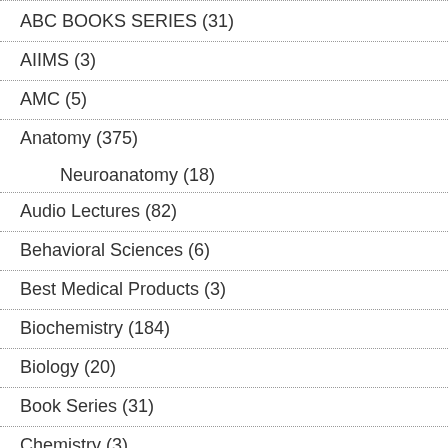ABC BOOKS SERIES (31)
AIIMS (3)
AMC (5)
Anatomy (375)
Neuroanatomy (18)
Audio Lectures (82)
Behavioral Sciences (6)
Best Medical Products (3)
Biochemistry (184)
Biology (20)
Book Series (31)
Chemistry (3)
Class 11th & 12th (77)